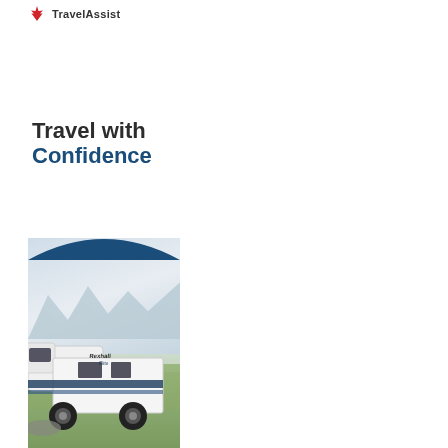TravelAssist
Travel with Confidence
[Figure (photo): A white Class C motorhome (Rexhall Elite) parked in a scenic outdoor setting with mountains and green fields in the background, partially framed by a dark navy blue arc/border at the top of the photo panel.]